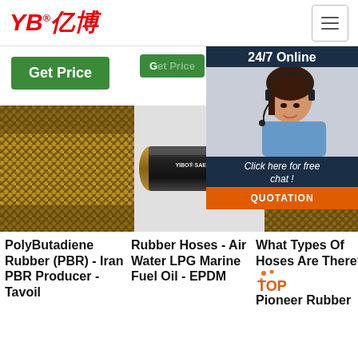[Figure (logo): YB亿博 company logo in red italic text with registered trademark symbol]
[Figure (screenshot): Hamburger menu icon button with three horizontal lines]
Get Price
Get Price
[Figure (infographic): 24/7 Online chat panel with customer service representative photo, 'Click here for free chat!' text, and QUOTATION button in orange]
[Figure (photo): Braided rubber hose close-up showing woven textile reinforcement in tan/gold color]
[Figure (photo): Black rubber hydraulic hose labeled YIBO SAE100R9]
[Figure (photo): Close-up of braided rubber hose showing woven textile reinforcement]
PolyButadiene Rubber (PBR) - Iran PBR Producer - Tavoil
Rubber Hoses - Air Water LPG Marine Fuel Oil - EPDM
What Types Of Hoses Are There? Pioneer Rubber